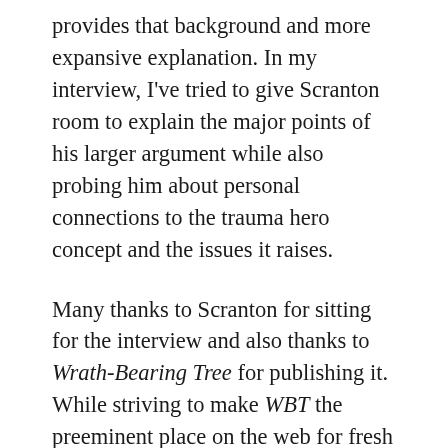provides that background and more expansive explanation. In my interview, I've tried to give Scranton room to explain the major points of his larger argument while also probing him about personal connections to the trauma hero concept and the issues it raises.
Many thanks to Scranton for sitting for the interview and also thanks to Wrath-Bearing Tree for publishing it. While striving to make WBT the preeminent place on the web for fresh critical commentary and imaginative writing about contemporary war and conflict, the talented crew of editors and staff-authors–Adrian Bonenberger, Michael Carson, David James, Matthew Hefti, Andria Williams, Mary